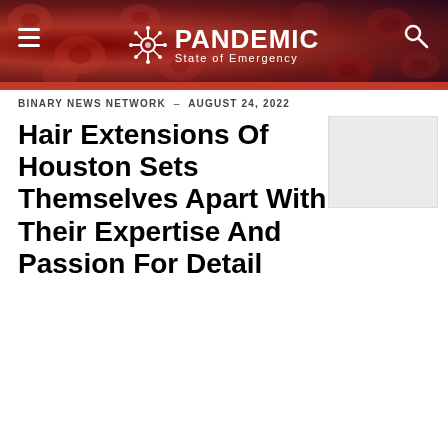PANDEMIC State of Emergency
BINARY NEWS NETWORK – AUGUST 24, 2022
Hair Extensions Of Houston Sets Themselves Apart With Their Expertise And Passion For Detail